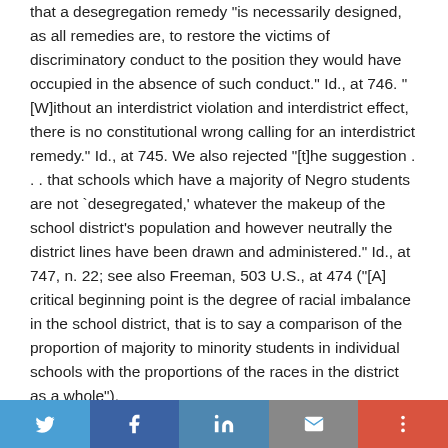that a desegregation remedy "is necessarily designed, as all remedies are, to restore the victims of discriminatory conduct to the position they would have occupied in the absence of such conduct." Id., at 746. "[W]ithout an interdistrict violation and interdistrict effect, there is no constitutional wrong calling for an interdistrict remedy." Id., at 745. We also rejected "[t]he suggestion . . . that schools which have a majority of Negro students are not `desegregated,' whatever the makeup of the school district's population and however neutrally the district lines have been drawn and administered." Id., at 747, n. 22; see also Freeman, 503 U.S., at 474 ("[A] critical beginning point is the degree of racial imbalance in the school district, that is to say a comparison of the proportion of majority to minority students in individual schools with the proportions of the races in the district as a whole"). Three years later, in Milliken v. Bradley, 433 U.S. 267 (1977)